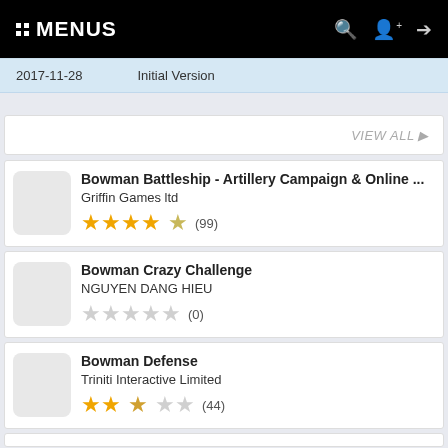MENUS
| Date | Description |
| --- | --- |
| 2017-11-28 | Initial Version |
VIEW ALL ▶
Bowman Battleship - Artillery Campaign & Online ...
Griffin Games ltd
★★★★☆ (99)
Bowman Crazy Challenge
NGUYEN DANG HIEU
☆☆☆☆☆ (0)
Bowman Defense
Triniti Interactive Limited
★★½☆☆ (44)